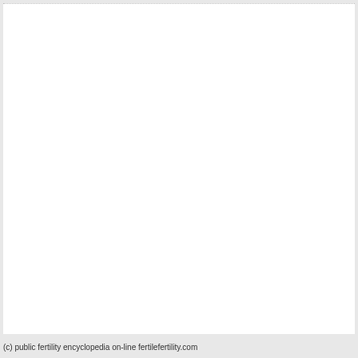(c) public fertility encyclopedia on-line fertilefertility.com